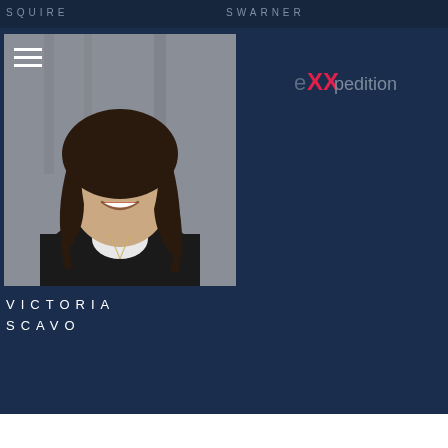SQUIRE   SWARNER
[Figure (photo): Portrait photo of Victoria Scavo, a woman with long dark wavy hair, smiling, wearing a black jacket over a white top, photographed in an industrial-style setting]
[Figure (logo): eXXpedition logo — 'eXX' in pink/red and 'pedition' in grey]
VICTORIA
SCAVO